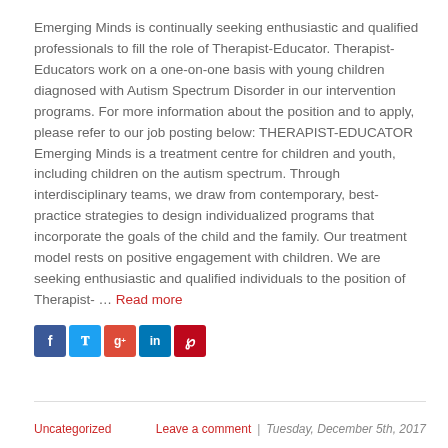Emerging Minds is continually seeking enthusiastic and qualified professionals to fill the role of Therapist-Educator.  Therapist-Educators work on a one-on-one basis with young children diagnosed with Autism Spectrum Disorder in our intervention programs.  For more information about the position and to apply, please refer to our job posting below: THERAPIST-EDUCATOR Emerging Minds is a treatment centre for children and youth, including children on the autism spectrum.  Through interdisciplinary teams, we draw from contemporary, best-practice strategies to design individualized programs that incorporate the goals of the child and the family.   Our treatment model rests on positive engagement with children. We are seeking enthusiastic and qualified individuals to the position of Therapist- … Read more
[Figure (other): Social media sharing icons: Facebook (blue), Twitter (light blue), Google+ (red), LinkedIn (blue), Pinterest (red)]
Uncategorized  |  Leave a comment  |  Tuesday, December 5th, 2017